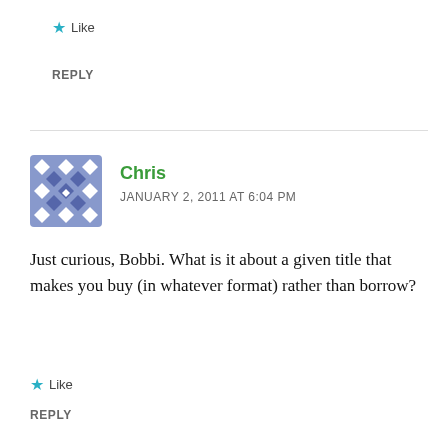★ Like
REPLY
Chris
JANUARY 2, 2011 AT 6:04 PM
Just curious, Bobbi. What is it about a given title that makes you buy (in whatever format) rather than borrow?
★ Like
REPLY